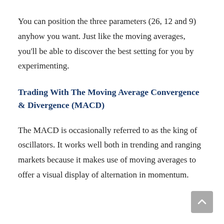You can position the three parameters (26, 12 and 9) anyhow you want. Just like the moving averages, you'll be able to discover the best setting for you by experimenting.
Trading With The Moving Average Convergence & Divergence (MACD)
The MACD is occasionally referred to as the king of oscillators. It works well both in trending and ranging markets because it makes use of moving averages to offer a visual display of alternation in momentum.